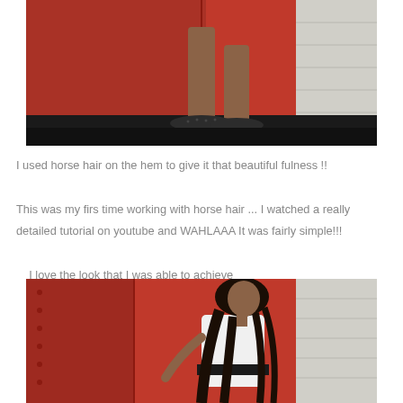[Figure (photo): Close-up photo of person's legs and feet wearing dark flats/shoes, standing on a black step/ledge in front of a red metal wall and gray siding]
I used horse hair on the hem to give it that beautiful fulness !!

This was my firs time working with horse hair ... I watched a really detailed tutorial on youtube and WAHLAAA It was fairly simple!!!

I love the look that I was able to achieve
[Figure (photo): Photo of a woman with long braided hair wearing a white top and black belt, sitting/leaning against a red metal wall with gray siding in the background]